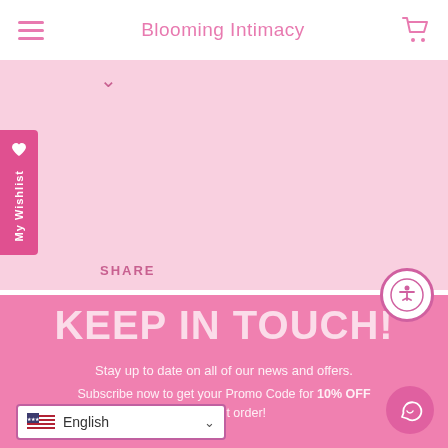Blooming Intimacy
[Figure (screenshot): Pink product/content area with chevron down icon]
SHARE
[Figure (illustration): Accessibility icon button (person in circle)]
KEEP IN TOUCH!
Stay up to date on all of our news and offers.
Subscribe now to get your Promo Code for 10% OFF your first order!
English
[Figure (illustration): WhatsApp/chat button circle icon]